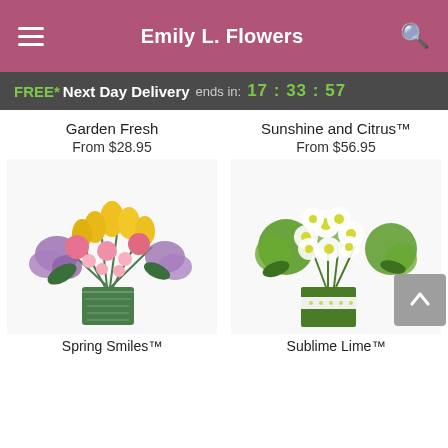Emily L. Flowers
FREE* Next Day Delivery ends in: 17:33:57
Garden Fresh
From $28.95
Sunshine and Citrus™
From $56.95
[Figure (photo): Spring Smiles™ flower bouquet with yellow tulips, pink roses, and purple lilac in a striped green vase]
[Figure (photo): Sublime Lime™ flower arrangement with white daisies and green spider mums in a square green vase]
Spring Smiles™
Sublime Lime™